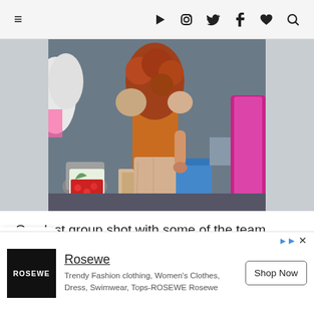≡  ▶ 📷 🐦 f ♥ 🔍
[Figure (photo): A person wearing an orange top and beige/nude long skirt with fluffy shoulder detail, standing backstage among props including a bucket of strawberries, bags, and blue trash can. Bright pink/magenta garment visible on right side.]
One last group shot with some of the team. These ladies are sooooo so so so
[Figure (infographic): Advertisement for Rosewe: Trendy Fashion clothing, Women's Clothes, Dress, Swimwear, Tops-ROSEWE Rosewe. Shop Now button.]